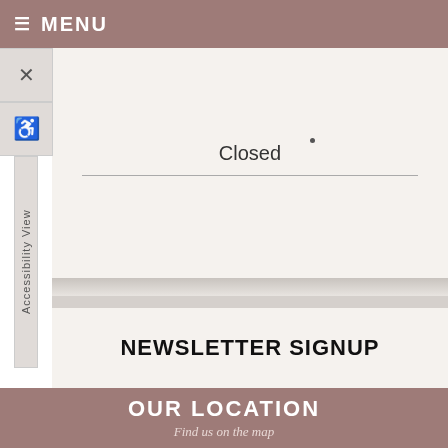≡ MENU
Closed
NEWSLETTER SIGNUP
OUR LOCATION
Find us on the map
[Figure (map): Street map showing building outlines and a road labeled 'Drive' on the right side, with zoom controls (+ and -) on the left.]